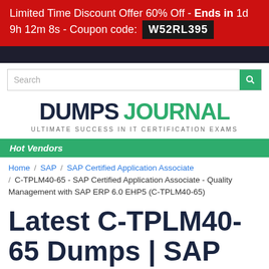Limited Time Discount Offer 60% Off - Ends in 1d 9h 12m 8s - Coupon code: W52RL395
[Figure (logo): Dumps Journal logo with search bar and navigation]
Hot Vendors
Home / SAP / SAP Certified Application Associate / C-TPLM40-65 - SAP Certified Application Associate - Quality Management with SAP ERP 6.0 EHP5 (C-TPLM40-65)
Latest C-TPLM40-65 Dumps | SAP Pdf C-